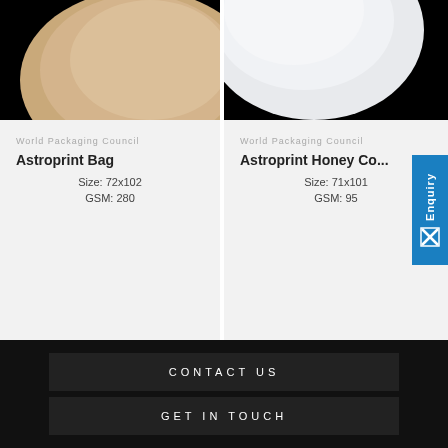[Figure (photo): Product image of Astroprint Bag on black background, showing beige/tan curved surface]
World Packaging Council
Astroprint Bag
Size: 72x102
GSM: 280
[Figure (photo): Product image of Astroprint Honey Comb on black background, showing white curved surface]
World Packaging Council
Astroprint Honey Co...
Size: 71x101
GSM: 95
Enquiry
CONTACT US
GET IN TOUCH